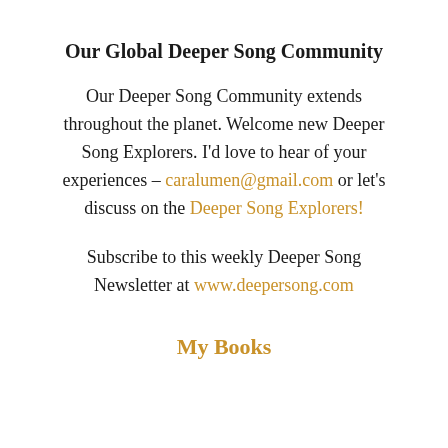Our Global Deeper Song Community
Our Deeper Song Community extends throughout the planet. Welcome new Deeper Song Explorers. I'd love to hear of your experiences – caralumen@gmail.com or let's discuss on the Deeper Song Explorers!
Subscribe to this weekly Deeper Song Newsletter at www.deepersong.com
My Books